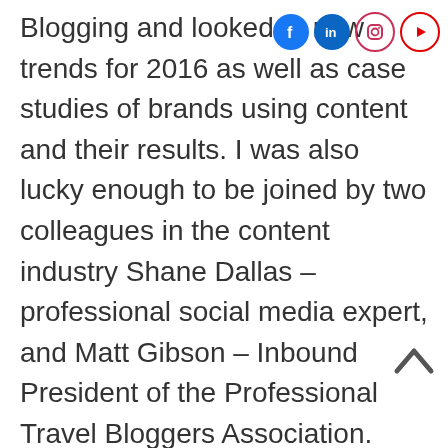[Figure (infographic): Social media icons in top-right: Facebook (blue circle), LinkedIn (blue circle), Instagram (outlined circle with camera), YouTube (outlined circle with play button)]
Blogging and looked at new trends for 2016 as well as case studies of brands using content and their results. I was also lucky enough to be joined by two colleagues in the content industry Shane Dallas – professional social media expert, and Matt Gibson – Inbound President of the Professional Travel Bloggers Association.
In case you missed it, here's a round up of some key trends that will help with you social media and blogging planning. The digital world is constantly changing and half the battle is keeping up with the latest trends, functions, and possibilities. Kee...